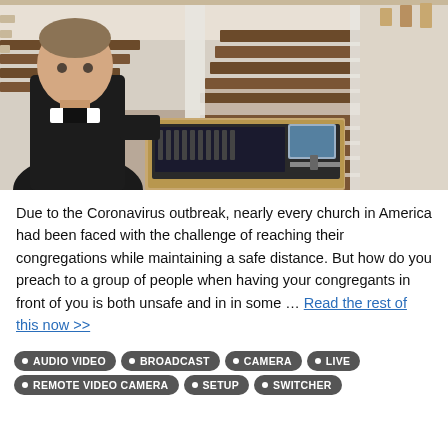[Figure (photo): A man in a black shirt standing in an empty church with rows of wooden pews, standing at an audio/video mixing console in a wooden enclosure. The church has tall white columns and ornate woodwork.]
Due to the Coronavirus outbreak, nearly every church in America had been faced with the challenge of reaching their congregations while maintaining a safe distance.  But how do you preach to a group of people when having your congregants in front of you is both unsafe and in in some … Read the rest of this now >>
• AUDIO VIDEO
• BROADCAST
• CAMERA
• LIVE
• REMOTE VIDEO CAMERA
• SETUP
• SWITCHER